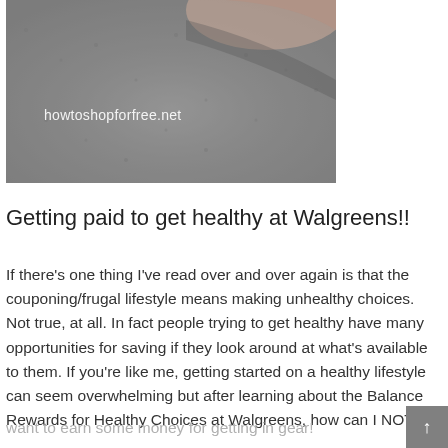[Figure (photo): Aerial view of a road/pavement surface with a hand shadow visible, overlaid with text 'howtoshopforfree.net']
Getting paid to get healthy at Walgreens!!
If there’s one thing I’ve read over and over again is that the couponing/frugal lifestyle means making unhealthy choices. Not true, at all. In fact people trying to get healthy have many opportunities for saving if they look around at what’s available to them.  If you’re like me, getting started on a healthy lifestyle can seem overwhelming but after learning about the Balance Rewards for Healthy Choices at Walgreens, how can I NOT
want to earn some money for getting in gear!